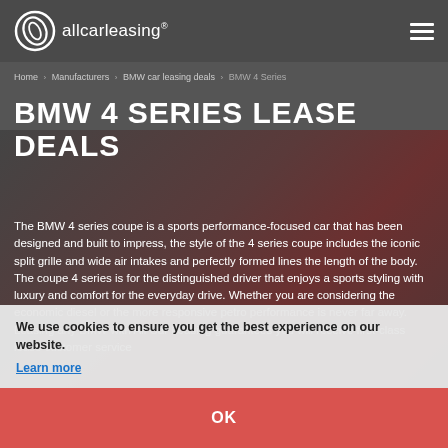allcarleasing
Home > Manufacturers > BMW car leasing deals > BMW 4 Series
BMW 4 SERIES LEASE DEALS
The BMW 4 series coupe is a sports performance-focused car that has been designed and built to impress, the style of the 4 series coupe includes the iconic split grille and wide air intakes and perfectly formed lines the length of the body. The coupe 4 series is for the distinguished driver that enjoys a sports styling with luxury and comfort for the everyday drive. Whether you are considering the economic diesel or the more responsive petro performance is never far away. Leasing any BMW with All Car Leasing guarantees you will receive first-class lease customer service
We use cookies to ensure you get the best experience on our website.
Learn more
OK